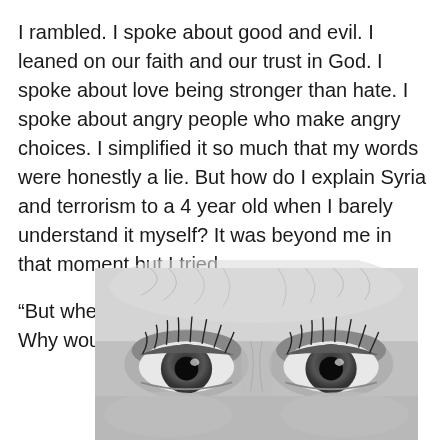I rambled. I spoke about good and evil. I leaned on our faith and our trust in God. I spoke about love being stronger than hate. I spoke about angry people who make angry choices. I simplified it so much that my words were honestly a lie. But how do I explain Syria and terrorism to a 4 year old when I barely understand it myself? It was beyond me in that moment but I tried.
“But when people die they are gone forever? Why would someone do that to people?”
[Figure (photo): Black and white close-up photograph of a child's eyes looking upward, showing intense expression]